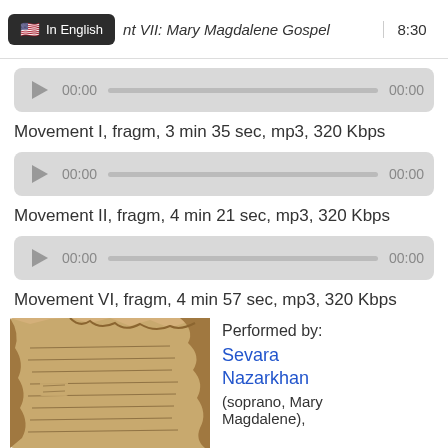In English   nt VII: Mary Magdalene Gospel   8:30
[Figure (screenshot): Audio player bar 1 showing 00:00 progress bar 00:00]
Movement I, fragm, 3 min 35 sec, mp3, 320 Kbps
[Figure (screenshot): Audio player bar 2 showing 00:00 progress bar 00:00]
Movement II, fragm, 4 min 21 sec, mp3, 320 Kbps
[Figure (screenshot): Audio player bar 3 showing 00:00 progress bar 00:00]
Movement VI, fragm, 4 min 57 sec, mp3, 320 Kbps
[Figure (photo): Ancient papyrus fragment with handwritten text]
Performed by: Sevara Nazarkhan (soprano, Mary Magdalene),